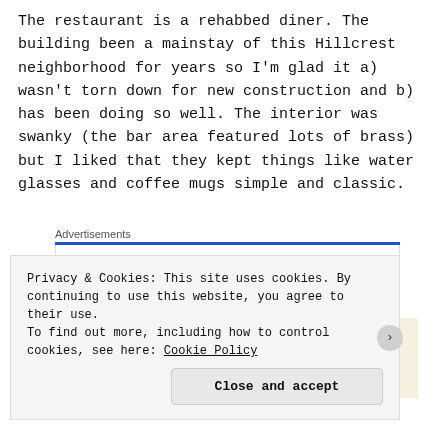The restaurant is a rehabbed diner. The building been a mainstay of this Hillcrest neighborhood for years so I'm glad it a) wasn't torn down for new construction and b) has been doing so well. The interior was swanky (the bar area featured lots of brass) but I liked that they kept things like water glasses and coffee mugs simple and classic.
[Figure (screenshot): Advertisement banner: 'The Platform Where WordPress Works Best' with Pressable logo]
[Figure (photo): Partial photo showing palm trees against a light background]
Privacy & Cookies: This site uses cookies. By continuing to use this website, you agree to their use.
To find out more, including how to control cookies, see here: Cookie Policy